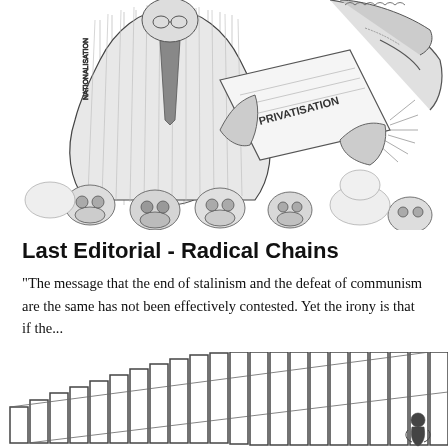[Figure (illustration): Black and white pen drawing of figures in pinstripe suits holding documents labeled 'PRIVATISATION' and 'NATIONALISATION', with skulls at the bottom]
Last Editorial - Radical Chains
"The message that the end of stalinism and the defeat of communism are the same has not been effectively contested. Yet the irony is that if the...
[Figure (illustration): Black and white drawing of a figure behind vertical bars resembling a cage or prison, suggesting chains or confinement]